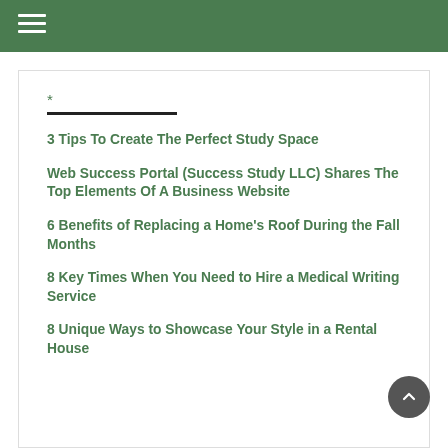≡ (hamburger menu)
3 Tips To Create The Perfect Study Space
Web Success Portal (Success Study LLC) Shares The Top Elements Of A Business Website
6 Benefits of Replacing a Home's Roof During the Fall Months
8 Key Times When You Need to Hire a Medical Writing Service
8 Unique Ways to Showcase Your Style in a Rental House